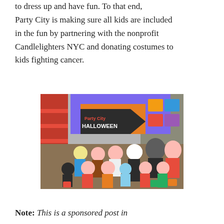to dress up and have fun. To that end, Party City is making sure all kids are included in the fun by partnering with the nonprofit Candlelighters NYC and donating costumes to kids fighting cancer.
[Figure (photo): Group photo of children in Halloween costumes inside a Party City store, with adults standing behind them. A Party City Halloween sign is visible in the background.]
Note: This is a sponsored post in